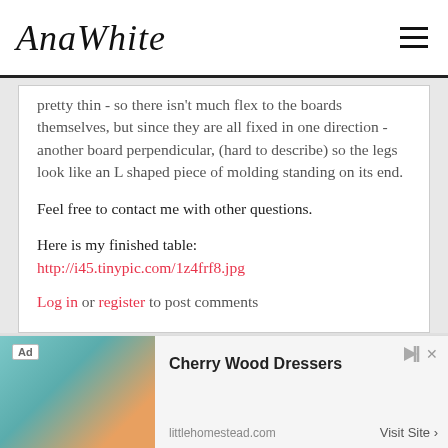AnaWhite
pretty thin - so there isn't much flex to the boards themselves, but since they are all fixed in one direction - another board perpendicular, (hard to describe) so the legs look like an L shaped piece of molding standing on its end.
Feel free to contact me with other questions.
Here is my finished table:
http://i45.tinypic.com/1z4frf8.jpg
Log in or register to post comments
[Figure (other): Advertisement for Cherry Wood Dressers from littlehomestead.com with a Visit Site button]